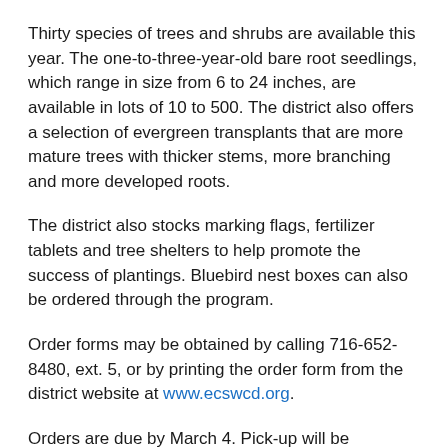Thirty species of trees and shrubs are available this year. The one-to-three-year-old bare root seedlings, which range in size from 6 to 24 inches, are available in lots of 10 to 500. The district also offers a selection of evergreen transplants that are more mature trees with thicker stems, more branching and more developed roots.
The district also stocks marking flags, fertilizer tablets and tree shelters to help promote the success of plantings. Bluebird nest boxes can also be ordered through the program.
Order forms may be obtained by calling 716-652-8480, ext. 5, or by printing the order form from the district website at www.ecswcd.org.
Orders are due by March 4. Pick-up will be Saturday, April 23.